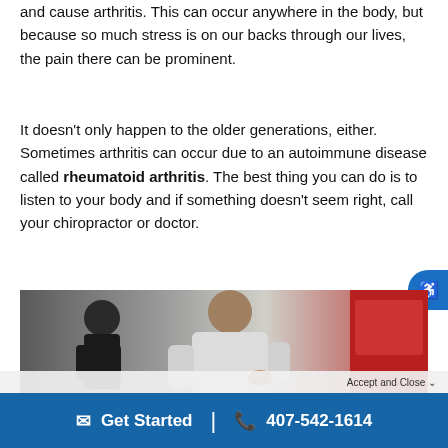and cause arthritis. This can occur anywhere in the body, but because so much stress is on our backs through our lives, the pain there can be prominent.
It doesn't only happen to the older generations, either. Sometimes arthritis can occur due to an autoimmune disease called rheumatoid arthritis. The best thing you can do is to listen to your body and if something doesn't seem right, call your chiropractor or doctor.
[Figure (photo): A person holding their lower back in pain, standing next to a car, suggesting back pain from arthritis]
Accept and Close  |  ✉ Get Started  |  ☎ 407-542-1614